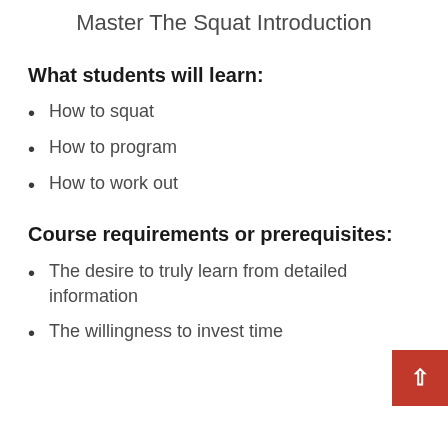Master The Squat Introduction
What students will learn:
How to squat
How to program
How to work out
Course requirements or prerequisites:
The desire to truly learn from detailed information
The willingness to invest time